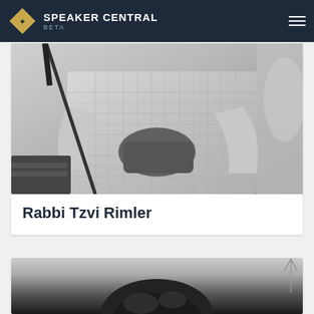SPEAKER CENTRAL BETA
[Figure (photo): Black and white photo of a person in a plaid shirt holding a book/device near a microphone stand]
Rabbi Tzvi Rimler
[Figure (photo): Black and white photo showing the top of a person's head with dark hair in a bun or updo]